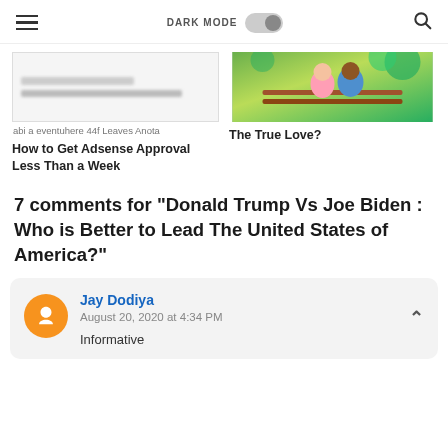DARK MODE [toggle] [search]
[Figure (screenshot): Card with blurred Google Adsense screenshot placeholder]
[Figure (photo): Two people sitting on a bench outdoors]
How to Get Adsense Approval Less Than a Week
The True Love?
7 comments for "Donald Trump Vs Joe Biden : Who is Better to Lead The United States of America?"
Jay Dodiya
August 20, 2020 at 4:34 PM
Informative